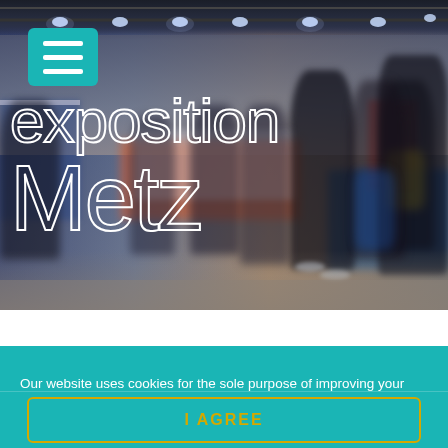[Figure (photo): Blurry photo of an exposition/trade show hall interior with people walking around booths, overhead lighting visible on ceiling. Text overlay reads 'exposition Metz' in large outlined white letters. A teal hamburger menu icon is in the top-left corner.]
Our website uses cookies for the sole purpose of improving your user experience. By continuing, you accept their use. see more
I AGREE